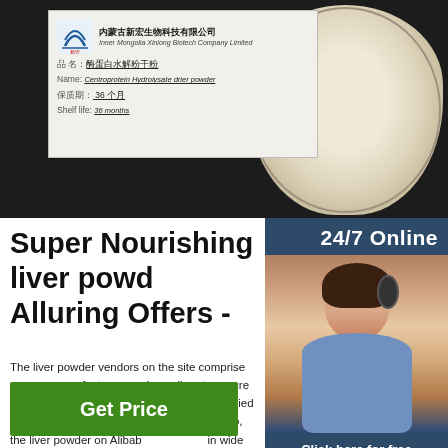[Figure (photo): Product label from Inner Mongolia Xinlong Biotech Company Limited showing Chinese text for Centroprotein Hydrolysate Drier Powder, shelf life 36 months, alongside a dark background and a white powder in a plate]
[Figure (photo): 24/7 Online customer service agent photo with chat bubble saying 'Click here for free chat!' and orange QUOTATION button]
Super Nourishing liver powder Alluring Offers -
The liver powder vendors on the site comprise certified manufacturers and suppliers to assure all shoppers that quality standards are complied with. To ensure that all needs are attended to, the liver powder on Alibaba.com come in wide varieties that take into account numerous factors and requirements for various animals.
[Figure (other): Green Get Price button]
[Figure (other): Orange and red TOP button with arrow icon]